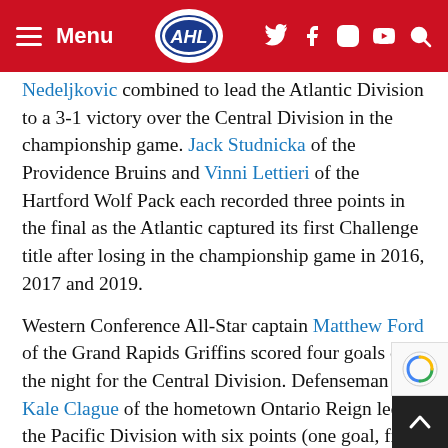AHL Menu header with logo and social icons
Nedeljkovic combined to lead the Atlantic Division to a 3-1 victory over the Central Division in the championship game. Jack Studnicka of the Providence Bruins and Vinni Lettieri of the Hartford Wolf Pack each recorded three points in the final as the Atlantic captured its first Challenge title after losing in the championship game in 2016, 2017 and 2019.
Western Conference All-Star captain Matthew Ford of the Grand Rapids Griffins scored four goals on the night for the Central Division. Defenseman Kale Clague of the hometown Ontario Reign led the Pacific Division with six points (one goal, five assists). For the North Division, Binghamton D forward Joey Anderson led all scorers with se points on the evening (three goals, four assist Toronto Marlies forward James Ro... ald b...